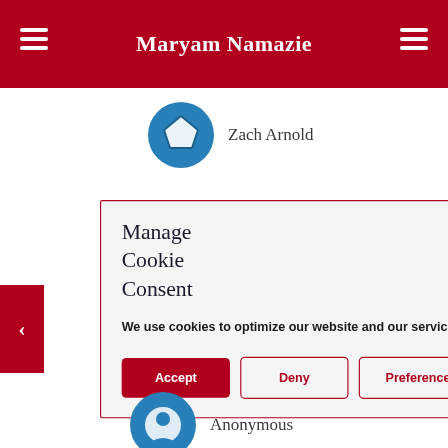Maryam Namazie
Zach Arnold
Manage Cookie Consent
We use cookies to optimize our website and our service.
Accept | Deny | Preferences
Anonymous